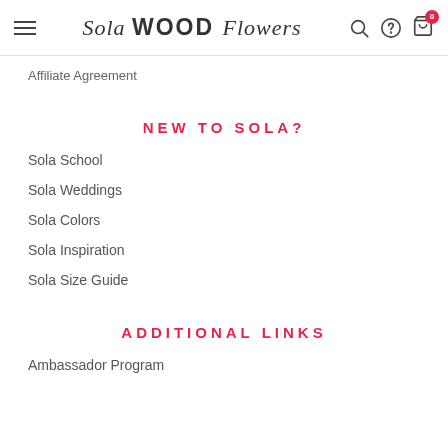Sola WOOD Flowers — navigation bar with hamburger menu, logo, search, help, and cart icons
Affiliate Agreement
NEW TO SOLA?
Sola School
Sola Weddings
Sola Colors
Sola Inspiration
Sola Size Guide
ADDITIONAL LINKS
Ambassador Program